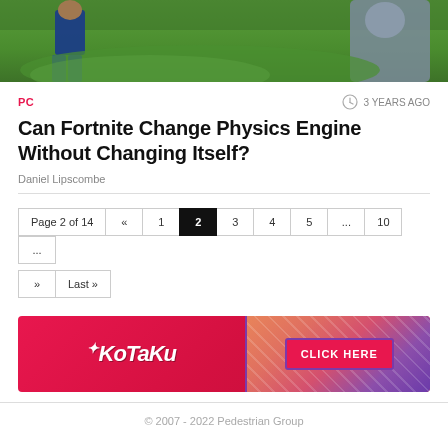[Figure (photo): Hero image of Fortnite gameplay showing characters in a green field, one in blue clothing on left and a grey character on right]
PC
3 YEARS AGO
Can Fortnite Change Physics Engine Without Changing Itself?
Daniel Lipscombe
Page 2 of 14  «  1  2  3  4  5  ...  10  ...  »  Last »
[Figure (illustration): Kotaku advertisement banner with pink/red background, Kotaku logo on left and CLICK HERE button on right with diagonal stripe pattern]
© 2007 - 2022 Pedestrian Group